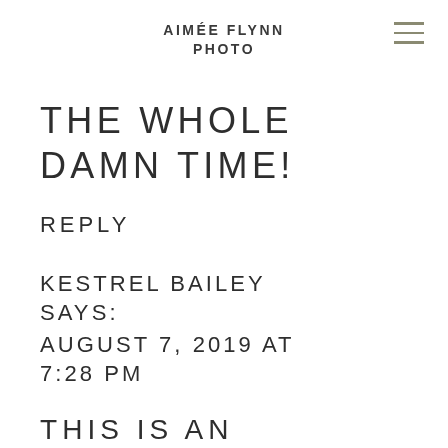AIMÉE FLYNN PHOTO
THE WHOLE DAMN TIME!
REPLY
KESTREL BAILEY SAYS: AUGUST 7, 2019 AT 7:28 PM
THIS IS AN